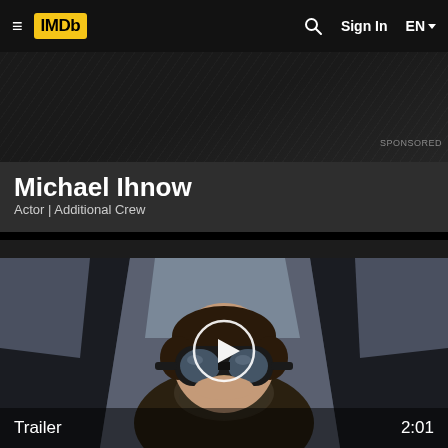IMDb — Sign In — EN
[Figure (screenshot): IMDb website navigation bar with hamburger menu, IMDb yellow logo, search icon, Sign In button, and EN language selector]
SPONSORED
Michael Ihnow
Actor | Additional Crew
[Figure (photo): Movie trailer thumbnail showing a person in aviator gear (leather cap, goggles, scarf) sitting in a cockpit, with a play button overlay. Duration 2:01. Label: Trailer]
Trailer   2:01